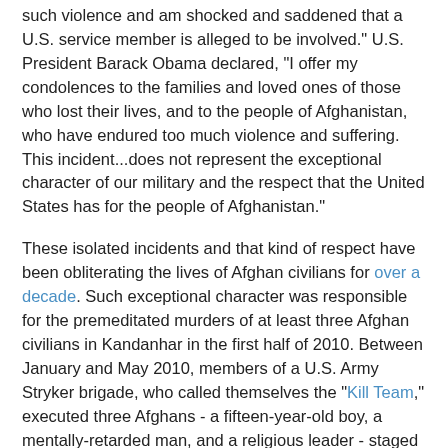such violence and am shocked and saddened that a U.S. service member is alleged to be involved." U.S. President Barack Obama declared, "I offer my condolences to the families and loved ones of those who lost their lives, and to the people of Afghanistan, who have endured too much violence and suffering. This incident...does not represent the exceptional character of our military and the respect that the United States has for the people of Afghanistan."
These isolated incidents and that kind of respect have been obliterating the lives of Afghan civilians for over a decade. Such exceptional character was responsible for the premeditated murders of at least three Afghan civilians in Kandanhar in the first half of 2010. Between January and May 2010, members of a U.S. Army Stryker brigade, who called themselves the "Kill Team," executed three Afghans - a fifteen-year-old boy, a mentally-retarded man, and a religious leader - staged combat situations to cover-up the killings, snapped commemorative and celebratory photographs with the murdered corpses, and took fingers and teeth as trophies. Peggy Noonan might say that they thought barbarity was their right.